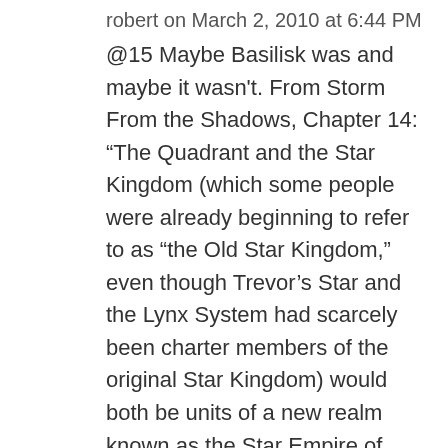robert on March 2, 2010 at 6:44 PM
@15 Maybe Basilisk was and maybe it wasn't. From Storm From the Shadows, Chapter 14: “The Quadrant and the Star Kingdom (which some people were already beginning to refer to as “the Old Star Kingdom,” even though Trevor’s Star and the Lynx System had scarcely been charter members of the original Star Kingdom) would both be units of a new realm known as the Star Empire of Manticore.” Since the natives of Medusa are clearly not ready for self-governing in a galactic world (galaxy? whatever) the humans on Medusa are Manticorans, as are the folks manning the various stations and the junction forts. So why would anyone from Basilisk have SEM citizenship? The ‘place’ may be a part of the Old Kingdom, but that is geography or...